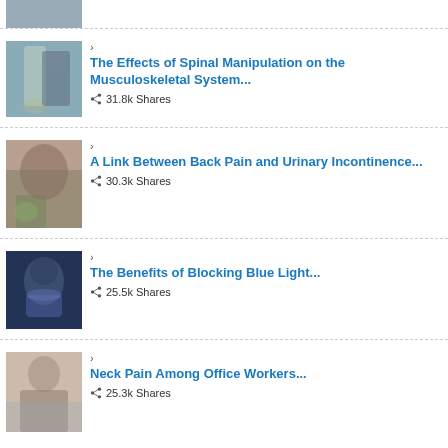[Figure (photo): Partially cropped article thumbnail at top of page]
The Effects of Spinal Manipulation on the Musculoskeletal System... — 31.8k Shares
A Link Between Back Pain and Urinary Incontinence... — 30.3k Shares
The Benefits of Blocking Blue Light... — 25.5k Shares
Neck Pain Among Office Workers... — 25.3k Shares